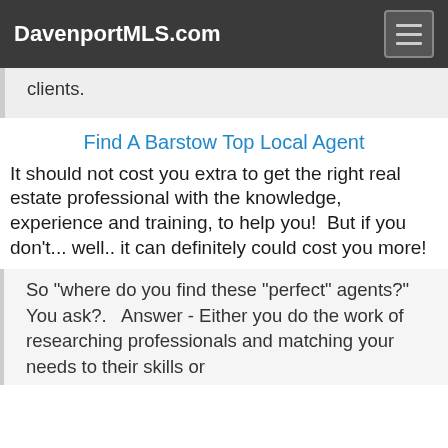DavenportMLS.com
clients.
Find A Barstow Top Local Agent
It should not cost you extra to get the right real estate professional with the knowledge, experience and training, to help you!  But if you don't... well.. it can definitely could cost you more!
So "where do you find these "perfect" agents?" You ask?.   Answer - Either you do the work of researching professionals and matching your needs to their skills or